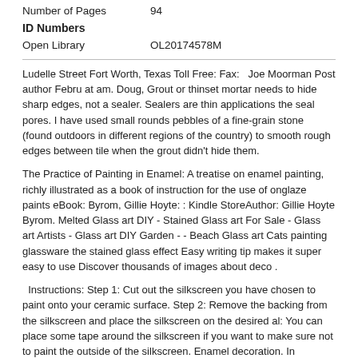| Number of Pages | 94 |
| Open Library | OL20174578M |
ID Numbers
Ludelle Street Fort Worth, Texas Toll Free: Fax:   Joe Moorman Post author Febru at am. Doug, Grout or thinset mortar needs to hide sharp edges, not a sealer. Sealers are thin applications the seal pores. I have used small rounds pebbles of a fine-grain stone (found outdoors in different regions of the country) to smooth rough edges between tile when the grout didn't hide them.
The Practice of Painting in Enamel: A treatise on enamel painting, richly illustrated as a book of instruction for the use of onglaze paints eBook: Byrom, Gillie Hoyte: : Kindle StoreAuthor: Gillie Hoyte Byrom. Melted Glass art DIY - Stained Glass art For Sale - Glass art Artists - Glass art DIY Garden - - Beach Glass art Cats painting glassware the stained glass effect Easy writing tip makes it super easy to use Discover thousands of images about deco .
Instructions: Step 1: Cut out the silkscreen you have chosen to paint onto your ceramic surface. Step 2: Remove the backing from the silkscreen and place the silkscreen on the desired al: You can place some tape around the silkscreen if you want to make sure not to paint the outside of the silkscreen. Enamel decoration. In ceramics, enamels may be applied either to a pre-fired, unglazed body, or painted onto the surface of a high-fired glaze, after which the object is